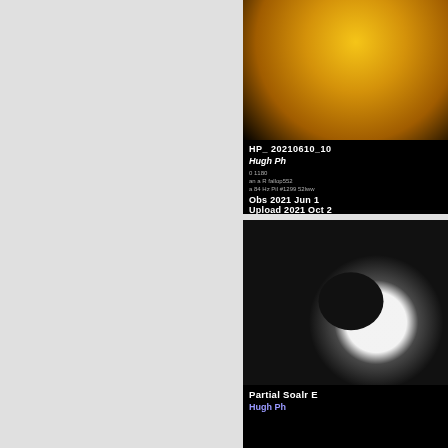[Figure (photo): Partial view of the sun in hydrogen-alpha or similar filter, showing golden/orange solar surface. Overlaid text shows filename HP_20210610_10..., photographer Hugh Ph..., observation date Obs 2021 Jun 1[0], Upload 2021 Oct 2[...]]
[Figure (photo): Black and white image of a partial solar eclipse showing crescent sun against dark sky/cloud background. Caption overlay reads 'Partial Soalr E[clipse]' and author 'Hugh Ph[elps]']